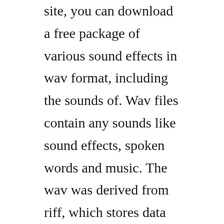site, you can download a free package of various sound effects in wav format, including the sounds of. Wav files contain any sounds like sound effects, spoken words and music. The wav was derived from riff, which stores data in indexed chunks. Computer sounds free sound effects computer sound clips. Where to download windows sounds and sound schemes. Here, you can download sounds and sound schemes for all windows versions. Wav files are one of the simplest digital audio file formats.
Microsoft sound audio drivers download for